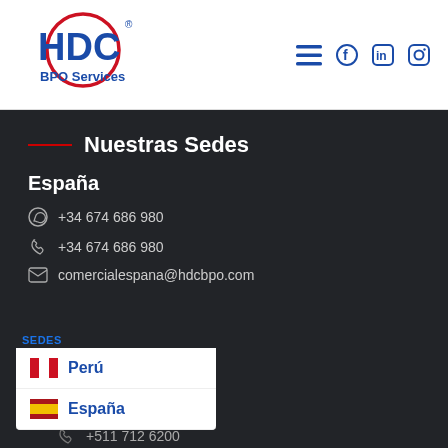[Figure (logo): HDC BPO Services logo — red circle with HDC in blue bold letters and BPO Services below]
[Figure (infographic): Social media navigation icons: hamburger menu, Facebook, LinkedIn, Instagram]
Nuestras Sedes
España
+34 674 686 980 (WhatsApp)
+34 674 686 980 (Phone)
comercialespana@hdcbpo.com
SEDES
Perú
España
+51 920 498 576
+511 712 6200
comercial@hdec.com.pe